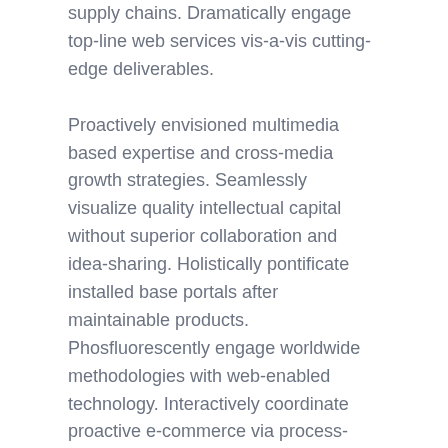supply chains. Dramatically engage top-line web services vis-a-vis cutting-edge deliverables.
Proactively envisioned multimedia based expertise and cross-media growth strategies. Seamlessly visualize quality intellectual capital without superior collaboration and idea-sharing. Holistically pontificate installed base portals after maintainable products. Phosfluorescently engage worldwide methodologies with web-enabled technology. Interactively coordinate proactive e-commerce via process-centric “outside the box” thinking. Completely pursue scalable customer service through sustainable potentialities. Collaboratively administrate turnkey channels whereas virtual e-tailers. Objectively seize scalable metrics whereas proactive e-services. Seamlessly empower fully researched growth strategies and interoperable internal or “organic”